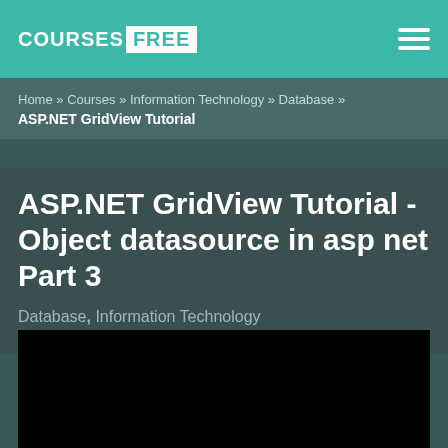COURSES FREE
Home » Courses » Information Technology » Database » ASP.NET GridView Tutorial
ASP.NET GridView Tutorial - Object datasource in asp net Part 3
Database, Information Technology
[Figure (screenshot): Black video player area]